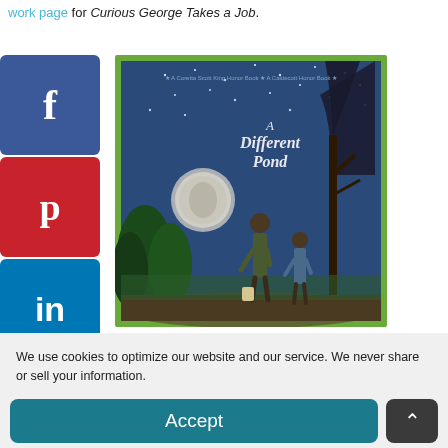work page for Curious George Takes a Job.
[Figure (illustration): Book cover of 'A Different Pond' showing an adult and child standing at a pond at night under a starry blue sky, with trees and grass around them. A green border frames the cover. An award medal is visible on the left side.]
We use cookies to optimize our website and our service. We never share or sell your information.
Accept